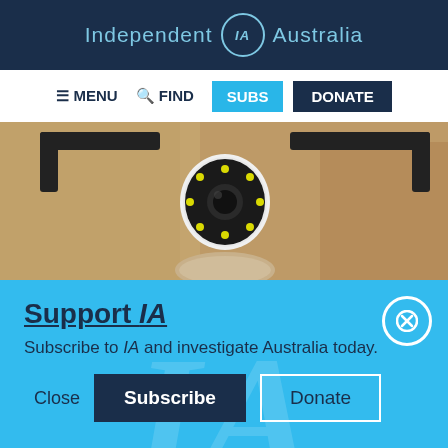Independent IA Australia
≡ MENU  🔍 FIND  SUBS  DONATE
[Figure (photo): Close-up of a security camera mounted on a wall]
Support IA
Subscribe to IA and investigate Australia today.
Close  Subscribe  Donate
Twitter  Facebook  LinkedIn  Flipboard  Share  More